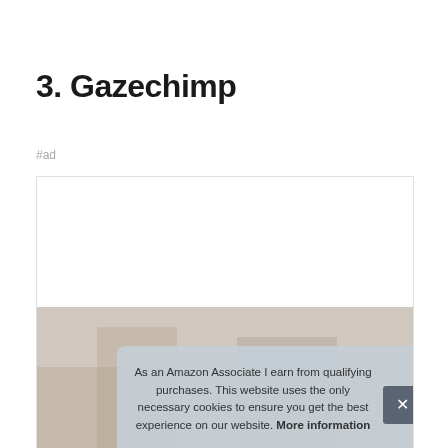3. Gazechimp
#ad
[Figure (photo): Product image inside a bordered white box, partially obscured by a cookie consent banner]
As an Amazon Associate I earn from qualifying purchases. This website uses the only necessary cookies to ensure you get the best experience on our website. More information